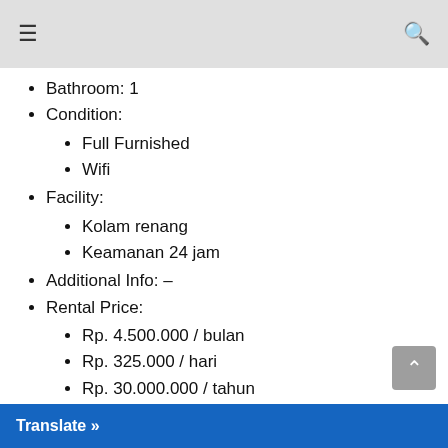≡  🔍
Bathroom: 1
Condition:
Full Furnished
Wifi
Facility:
Kolam renang
Keamanan 24 jam
Additional Info: –
Rental Price:
Rp. 4.500.000 / bulan
Rp. 325.000 / hari
Rp. 30.000.000 / tahun
Contact: 081 585827180
WhatsApp: 081585827180
Email: winston07@gmail.com